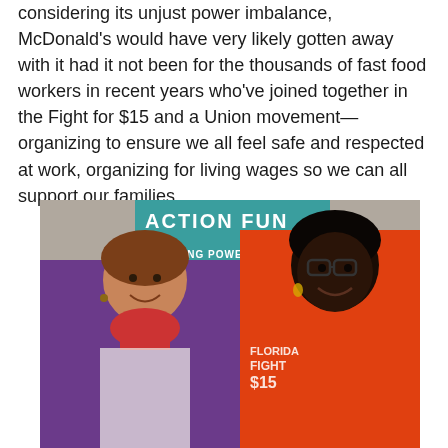considering its unjust power imbalance, McDonald's would have very likely gotten away with it had it not been for the thousands of fast food workers in recent years who've joined together in the Fight for $15 and a Union movement—organizing to ensure we all feel safe and respected at work, organizing for living wages so we can all support our families.
[Figure (photo): Two women standing in front of a teal 'Action Fund - Building Power for the Rest of Us' banner. The woman on the left wears a purple jacket with a red scarf. The woman on the right wears an orange 'Fight for $15' shirt and glasses. Both are smiling.]